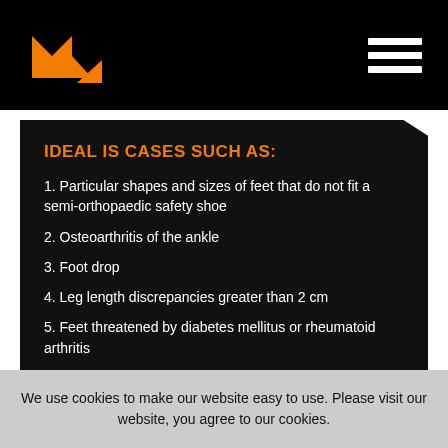Logo and navigation menu
Ideal is cases such as:
1. Particular shapes and sizes of feet that do not fit a semi-orthopaedic safety shoe
2. Osteoarthritis of the ankle
3. Foot drop
4. Leg length discrepancies greater than 2 cm
5. Feet threatened by diabetes mellitus or rheumatoid arthritis
We use cookies to make our website easy to use. Please visit our website, you agree to our cookies.